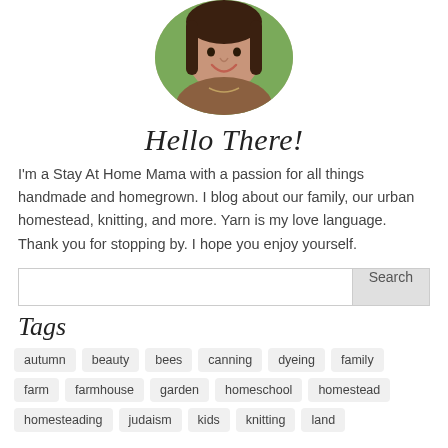[Figure (photo): Circular cropped profile photo of a smiling woman with dark hair, wearing a brown jacket, photographed outdoors with green background.]
Hello There!
I'm a Stay At Home Mama with a passion for all things handmade and homegrown. I blog about our family, our urban homestead, knitting, and more. Yarn is my love language. Thank you for stopping by. I hope you enjoy yourself.
Search
Tags
autumn
beauty
bees
canning
dyeing
family
farm
farmhouse
garden
homeschool
homestead
homesteading
judaism
kids
knitting
land